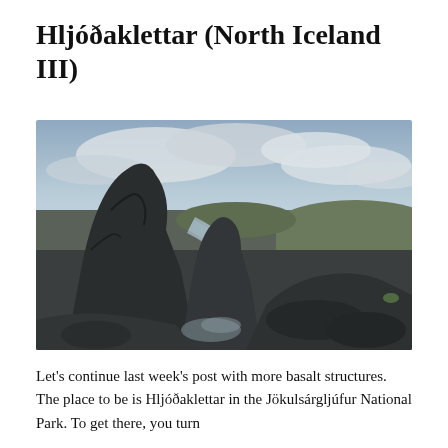Hljóðaklettar (North Iceland III)
[Figure (photo): Landscape photograph of Hljóðaklettar basalt rock formations in Jökulsárgljúfur National Park, North Iceland. Large dark volcanic rock spires dominate the foreground, with a winding glacial river, green canyon walls, and a cloudy sky in the background.]
Let's continue last week's post with more basalt structures. The place to be is Hljóðaklettar in the Jökulsárgljúfur National Park. To get there, you turn